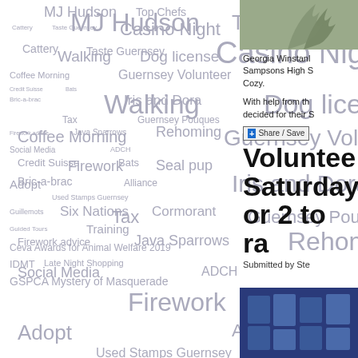[Figure (infographic): Word cloud with animal/charity/event related tags in varying sizes and grey tones]
[Figure (photo): Photo of plant/greenery in top right]
Georgia Winstanley Sampsons High S Cozy.
With help from th decided for their S
Share / Save
Voluntee Saturday or 2 to ra
Submitted by Ste
[Figure (photo): Blue/dark photo in bottom right corner]